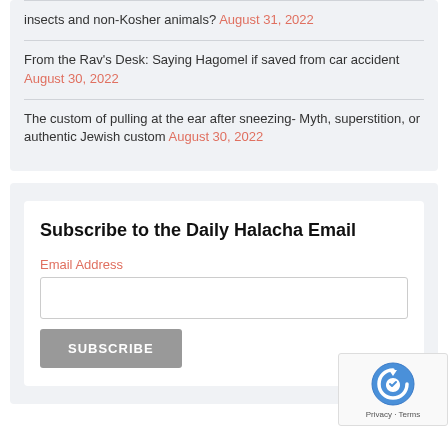insects and non-Kosher animals? August 31, 2022
From the Rav's Desk: Saying Hagomel if saved from car accident August 30, 2022
The custom of pulling at the ear after sneezing- Myth, superstition, or authentic Jewish custom August 30, 2022
Subscribe to the Daily Halacha Email
Email Address
[Figure (other): reCAPTCHA badge with Privacy and Terms text]